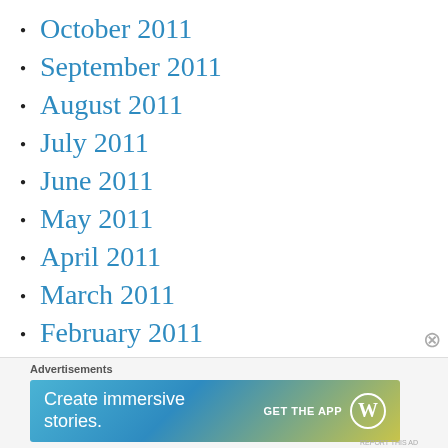October 2011
September 2011
August 2011
July 2011
June 2011
May 2011
April 2011
March 2011
February 2011
January 2011
November 2010
September 2010
August 2010
[Figure (other): Advertisement banner: Create immersive stories. GET THE APP with WordPress logo]
Advertisements